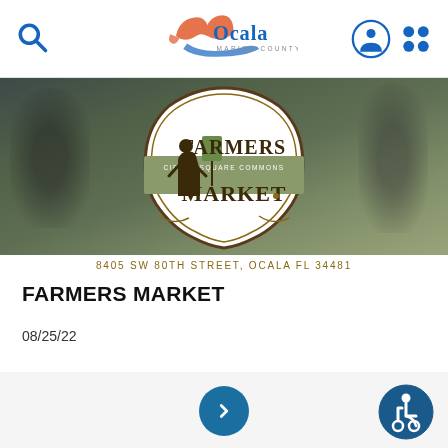Ocala Marion County FL - search and navigation header
[Figure (screenshot): Farmers Market at Circle Square Commons banner image with people in background and circular badge logo reading FARMERS MARKET Circle Square Commons]
8405 SW 80TH STREET, OCALA FL 34481
FARMERS MARKET
08/25/22
[Figure (other): Next/forward navigation button (blue circle with right chevron)]
[Figure (other): Accessibility icon (blue circle with wheelchair user symbol)]